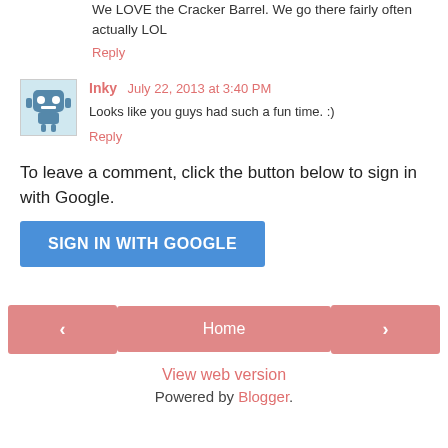We LOVE the Cracker Barrel. We go there fairly often actually LOL
Reply
Inky  July 22, 2013 at 3:40 PM
Looks like you guys had such a fun time. :)
Reply
To leave a comment, click the button below to sign in with Google.
[Figure (other): SIGN IN WITH GOOGLE button (blue)]
[Figure (other): Navigation bar with left arrow, Home button, and right arrow]
View web version
Powered by Blogger.